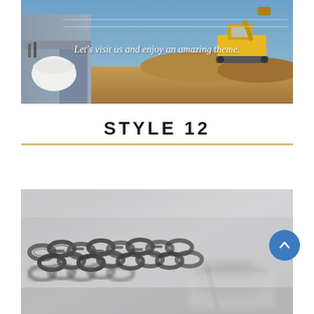[Figure (photo): Construction site photo showing worker holding white hard hat with excavator and dirt mound in background. Italic white text overlay reads: Let's visit us and enjoy an amazing theme.]
STYLE 12
[Figure (photo): Close-up photo of metal chain links or rebar with blurred background, viewed from above on a surface]